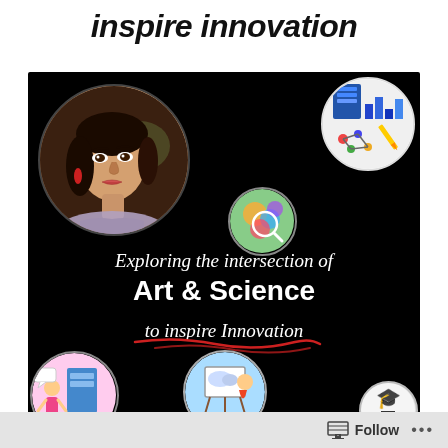inspire innovation
[Figure (illustration): Black background promotional image showing a woman in a circular portrait, decorative circular icons around her (art/science themed), and text overlay reading 'Exploring the intersection of Art & Science to inspire Innovation' with a red scribble underline. Bottom shows partial circular cartoon icons.]
Follow ...